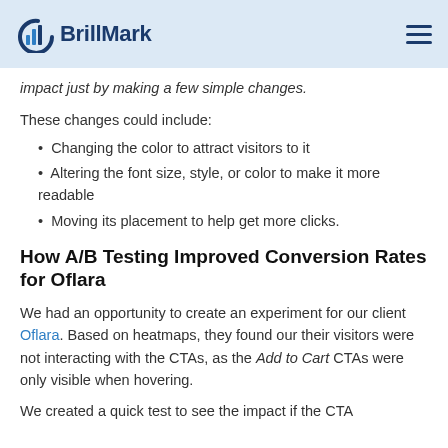BrillMark
impact just by making a few simple changes.
These changes could include:
Changing the color to attract visitors to it
Altering the font size, style, or color to make it more readable
Moving its placement to help get more clicks.
How A/B Testing Improved Conversion Rates for Oflara
We had an opportunity to create an experiment for our client Oflara. Based on heatmaps, they found our their visitors were not interacting with the CTAs, as the Add to Cart CTAs were only visible when hovering.
We created a quick test to see the impact if the CTA...